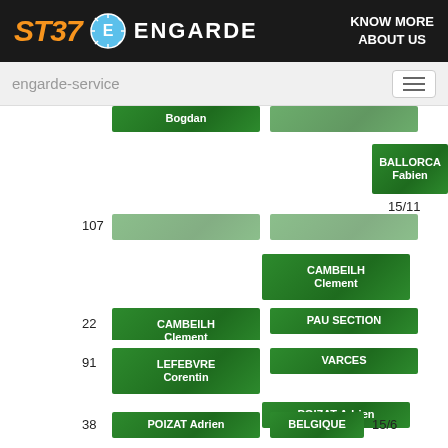[Figure (other): ST37 Engarde fencing tournament bracket software header logo]
engarde-service
[Figure (flowchart): Tournament bracket showing: Bogdan vs opponent (top), BALLORCA Fabien wins 15/11; row 107 blank entries; CAMBEILH Clement advances; row 22 CAMBEILH Clement vs PAU SECTION; row 27 ROBERT Nicolas vs JOUE TOURS, ROBERT Nicolas advances; row 102 blank entries; POIZAT Adrien wins 15/10; row 91 LEFEBVRE Corentin vs VARCES; POIZAT Adrien advances; row 38 POIZAT Adrien vs BELGIQUE 15/6]